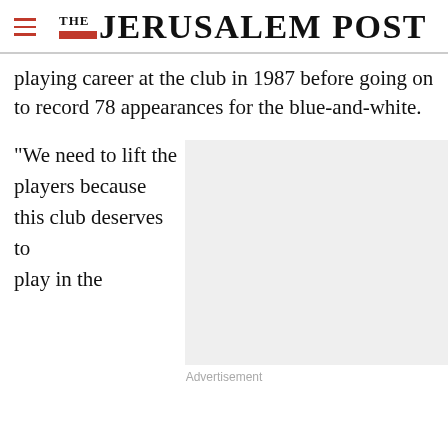THE JERUSALEM POST
playing career at the club in 1987 before going on to record 78 appearances for the blue-and-white.
“We need to lift the players because this club deserves to play in the
[Figure (other): Advertisement placeholder box (gray rectangle)]
Advertisement